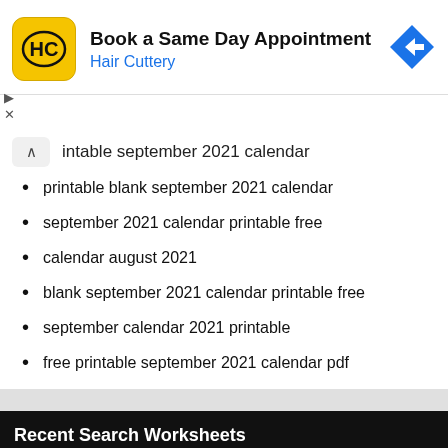[Figure (logo): Hair Cuttery ad banner with HC logo, 'Book a Same Day Appointment' text, 'Hair Cuttery' subtitle in blue, and blue direction arrow icon on the right. Ad controls (up arrow and X) on the left below.]
printable september 2021 calendar
printable blank september 2021 calendar
september 2021 calendar printable free
calendar august 2021
blank september 2021 calendar printable free
september calendar 2021 printable
free printable september 2021 calendar pdf
Recent Search Worksheets
free printable type in calendars